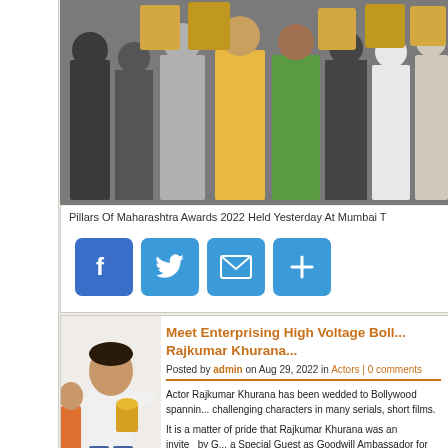[Figure (photo): Group photo of people at Pillars of Maharashtra Awards 2022 event in Mumbai, holding trophies and plaques]
Pillars Of Maharashtra Awards 2022 Held Yesterday At Mumbai T
[Figure (infographic): Social sharing buttons: Facebook, Twitter, Email, and Share (plus) icons in blue rounded square buttons]
[Figure (photo): Man in white shirt receiving or holding an award at an event]
Meet Enterprising High Voltage Boll... Rajkumar Khurana...
Posted by admin on Aug 29, 2022 in Actors | 0 comments
Actor Rajkumar Khurana has been wedded to  Bollywood spannin... challenging characters in many serials, short films.
It is a matter of pride that Rajkumar Khurana was an invite   by G... a Special Guest as Goodwill Ambassador for an event held on 16 G...
Infact, Rajkumar was honoured with the Best Actor Award by Gali...